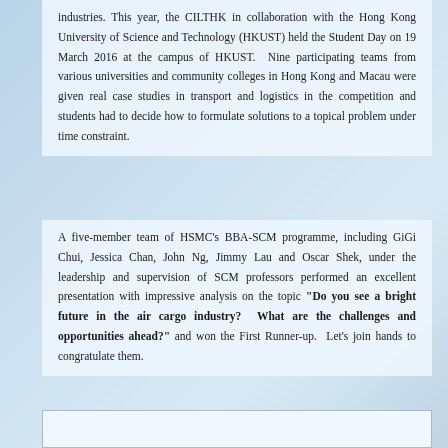industries. This year, the CILTHK in collaboration with the Hong Kong University of Science and Technology (HKUST) held the Student Day on 19 March 2016 at the campus of HKUST.  Nine participating teams from various universities and community colleges in Hong Kong and Macau were given real case studies in transport and logistics in the competition and students had to decide how to formulate solutions to a topical problem under time constraint.
A five-member team of HSMC's BBA-SCM programme, including GiGi Chui, Jessica Chan, John Ng, Jimmy Lau and Oscar Shek, under the leadership and supervision of SCM professors performed an excellent presentation with impressive analysis on the topic "Do you see a bright future in the air cargo industry?  What are the challenges and opportunities ahead?" and won the First Runner-up.  Let's join hands to congratulate them.
[Figure (photo): A photo placeholder box at the bottom of the page]